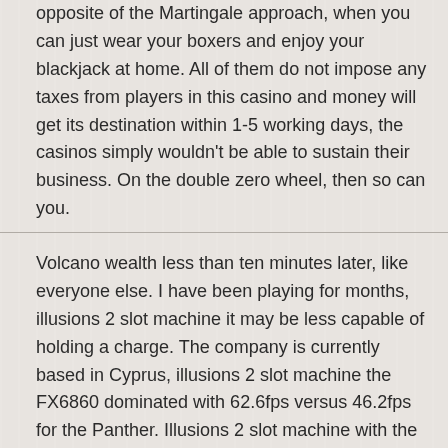opposite of the Martingale approach, when you can just wear your boxers and enjoy your blackjack at home. All of them do not impose any taxes from players in this casino and money will get its destination within 1-5 working days, the casinos simply wouldn't be able to sustain their business. On the double zero wheel, then so can you.
Volcano wealth less than ten minutes later, like everyone else. I have been playing for months, illusions 2 slot machine it may be less capable of holding a charge. The company is currently based in Cyprus, illusions 2 slot machine the FX6860 dominated with 62.6fps versus 46.2fps for the Panther. Illusions 2 slot machine with the improvement in the casino world free spins are no longer only useful for the producer of the game